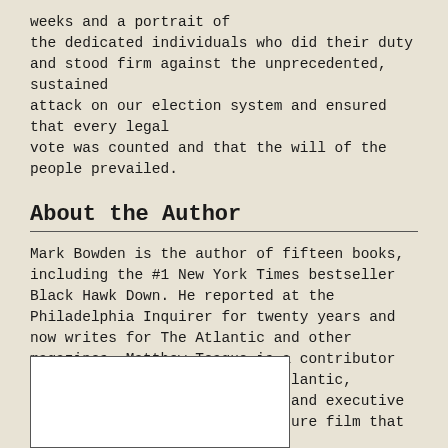weeks and a portrait of the dedicated individuals who did their duty and stood firm against the unprecedented, sustained attack on our election system and ensured that every legal vote was counted and that the will of the people prevailed.
About the Author
Mark Bowden is the author of fifteen books, including the #1 New York Times bestseller Black Hawk Down. He reported at the Philadelphia Inquirer for twenty years and now writes for The Atlantic and other magazines. Matthew Teague is a contributor to National Geographic, The Atlantic, Esquire, and other magazines, and executive producer of Our Friend, a feature film that premiered in 2021.
[Figure (photo): A white rectangular image box, partially visible at the bottom of the page]